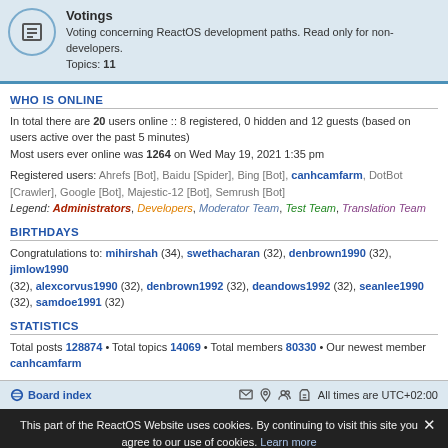Votings
Voting concerning ReactOS development paths. Read only for non-developers. Topics: 11
WHO IS ONLINE
In total there are 20 users online :: 8 registered, 0 hidden and 12 guests (based on users active over the past 5 minutes)
Most users ever online was 1264 on Wed May 19, 2021 1:35 pm
Registered users: Ahrefs [Bot], Baidu [Spider], Bing [Bot], canhcamfarm, DotBot [Crawler], Google [Bot], Majestic-12 [Bot], Semrush [Bot]
Legend: Administrators, Developers, Moderator Team, Test Team, Translation Team
BIRTHDAYS
Congratulations to: mihirshah (34), swethacharan (32), denbrown1990 (32), jimlow1990 (32), alexcorvus1990 (32), denbrown1992 (32), deandows1992 (32), seanlee1990 (32), samdoe1991 (32)
STATISTICS
Total posts 128874 • Total topics 14069 • Total members 80330 • Our newest member canhcamfarm
Board index   All times are UTC+02:00
This part of the ReactOS Website uses cookies. By continuing to visit this site you agree to our use of cookies. Learn more